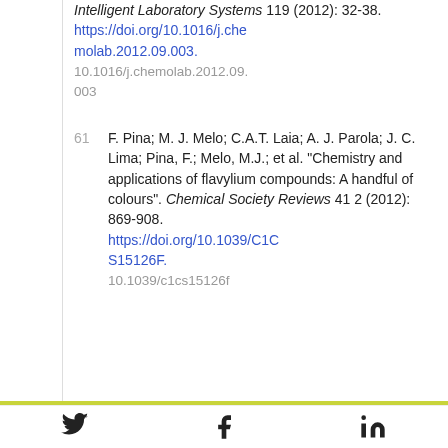Intelligent Laboratory Systems 119 (2012): 32-38. https://doi.org/10.1016/j.chemolab.2012.09.003. 10.1016/j.chemolab.2012.09.003
61  F. Pina; M. J. Melo; C.A.T. Laia; A. J. Parola; J. C. Lima; Pina, F.; Melo, M.J.; et al. "Chemistry and applications of flavylium compounds: A handful of colours". Chemical Society Reviews 41 2 (2012): 869-908. https://doi.org/10.1039/C1CS15126F. 10.1039/c1cs15126f
Twitter | Facebook | LinkedIn